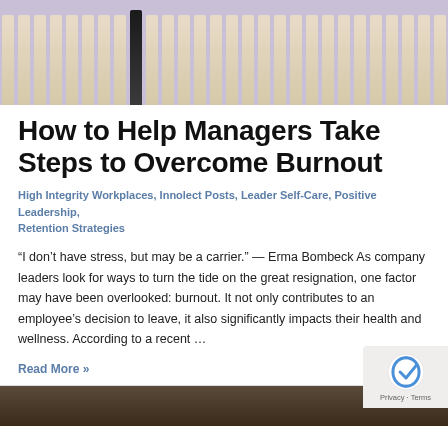[Figure (photo): Photograph of multiple thin straw-like sticks on a purple/lavender background, with one black burnt stick in the center]
How to Help Managers Take Steps to Overcome Burnout
High Integrity Workplaces, Innolect Posts, Leader Self-Care, Positive Leadership, Retention Strategies
“I don’t have stress, but may be a carrier.” — Erma Bombeck As company leaders look for ways to turn the tide on the great resignation, one factor may have been overlooked: burnout. It not only contributes to an employee’s decision to leave, it also significantly impacts their health and wellness. According to a recent …
Read More »
[Figure (photo): Partial view of a dark brown wooden surface or desk at the bottom of the page]